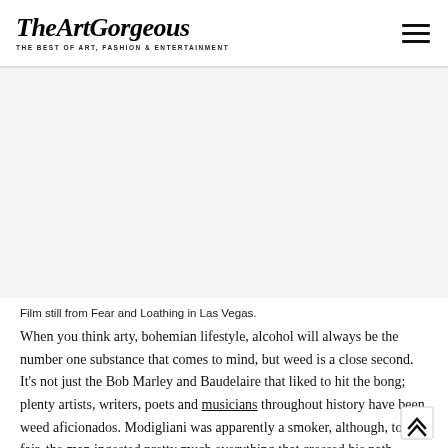TheArtGorgeous — THE BEST OF ART, FASHION & ENTERTAINMENT
[Figure (other): Advertisement / blank placeholder area below the site header]
Film still from Fear and Loathing in Las Vegas.
When you think arty, bohemian lifestyle, alcohol will always be the number one substance that comes to mind, but weed is a close second. It's not just the Bob Marley and Baudelaire that liked to hit the bong; plenty artists, writers, poets and musicians throughout history have been weed aficionados. Modigliani was apparently a smoker, although, to be fair, the man ingested pretty much everything that crossed his path. From Shakespeare to Queen Victoria, from the